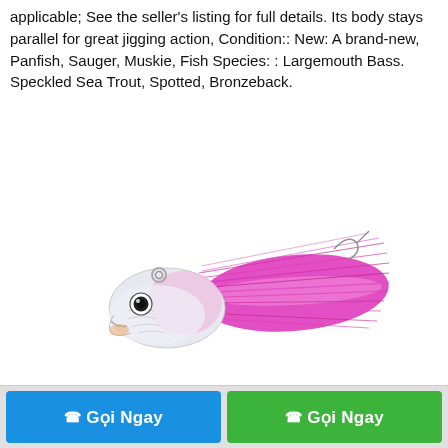applicable; See the seller's listing for full details. Its body stays parallel for great jigging action, Condition:: New: A brand-new, Panfish, Sauger, Muskie, Fish Species: : Largemouth Bass. Speckled Sea Trout, Spotted, Bronzeback.
[Figure (photo): A fishing lure (bucktail jig) with a white/silver fish-shaped head and bright pink/magenta hair/fiber tail, photographed on a white background.]
Gọi Ngay   Gọi Ngay